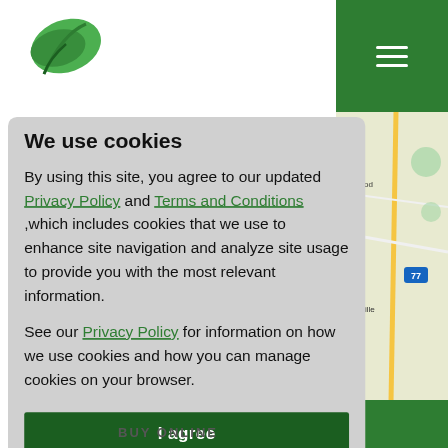[Figure (logo): Green leaf logo in top-left corner]
[Figure (screenshot): Green hamburger menu icon on dark green background in top-right]
[Figure (map): Map showing roads near Dentsville area with highway 77 visible]
We use cookies
By using this site, you agree to our updated Privacy Policy and Terms and Conditions ,which includes cookies that we use to enhance site navigation and analyze site usage to provide you with the most relevant information.
See our Privacy Policy for information on how we use cookies and how you can manage cookies on your browser.
I agree
BUY ONLINE